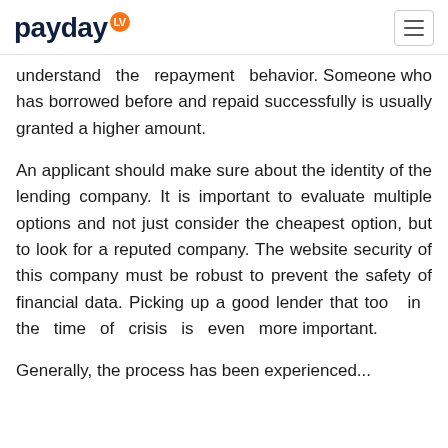payday LV
understand the repayment behavior. Someone who has borrowed before and repaid successfully is usually granted a higher amount.
An applicant should make sure about the identity of the lending company. It is important to evaluate multiple options and not just consider the cheapest option, but to look for a reputed company. The website security of this company must be robust to prevent the safety of financial data. Picking up a good lender that too in the time of crisis is even more important.
Generally, the process has been experienced...